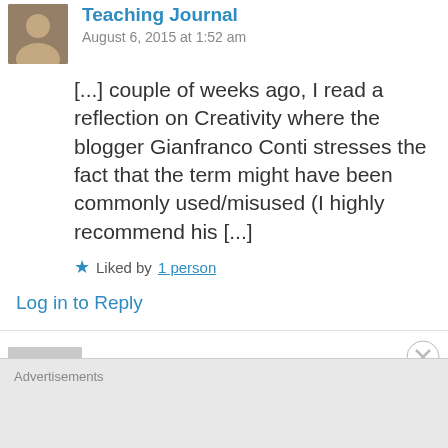[Figure (photo): Small avatar thumbnail of a person]
Teaching Journal
August 6, 2015 at 1:52 am
[...] couple of weeks ago, I read a reflection on Creativity where the blogger Gianfranco Conti stresses the fact that the term might have been commonly used/misused (I highly recommend his [...]
★ Liked by 1 person
Log in to Reply
[Figure (photo): Avatar photo of paulwalsh]
paulwalsh
Advertisements